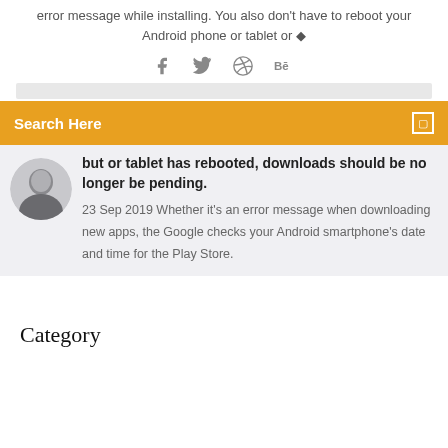error message while installing. You also don't have to reboot your Android phone or tablet or ◆
[Figure (infographic): Social media icons: Facebook, Twitter, Dribbble, Behance]
Search Here
but or tablet has rebooted, downloads should be no longer be pending.
23 Sep 2019 Whether it's an error message when downloading new apps, the Google checks your Android smartphone's date and time for the Play Store.
Category